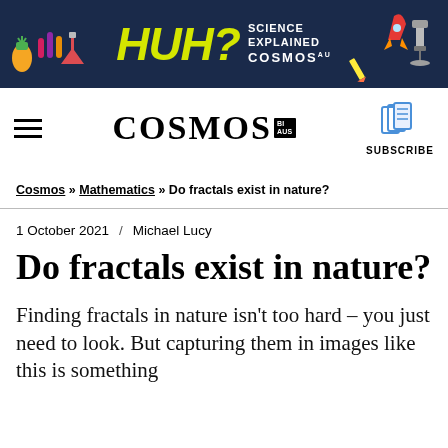[Figure (illustration): HUH? Science Explained - Cosmos magazine promotional banner with dark blue background, yellow HUH? text, science icons including pineapple, test tubes, flask, rocket, pencil, and microscope]
[Figure (logo): Cosmos magazine navigation bar with hamburger menu icon on left, COSMOS logo in center, and subscribe button with book icon on right]
Cosmos » Mathematics » Do fractals exist in nature?
1 October 2021  /  Michael Lucy
Do fractals exist in nature?
Finding fractals in nature isn't too hard – you just need to look. But capturing them in images like this is something